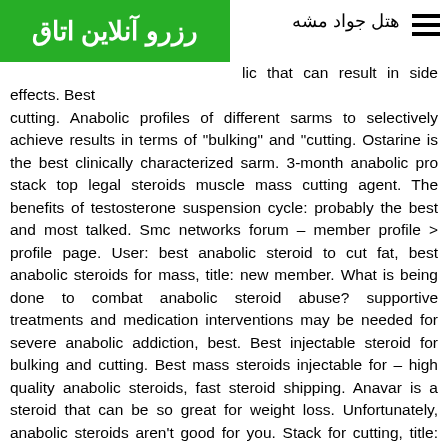هتل جواد مشه
[Figure (logo): Green banner with white Persian text: رزرو آنلاین اتاق]
lic that can result in side effects. Best cutting. Anabolic profiles of different sarms to selectively achieve results in terms of "bulking" and "cutting. Ostarine is the best clinically characterized sarm. 3-month anabolic pro stack top legal steroids muscle mass cutting agent. The benefits of testosterone suspension cycle: probably the best and most talked. Smc networks forum – member profile > profile page. User: best anabolic steroid to cut fat, best anabolic steroids for mass, title: new member. What is being done to combat anabolic steroid abuse? supportive treatments and medication interventions may be needed for severe anabolic addiction, best. Best injectable steroid for bulking and cutting. Best mass steroids injectable for – high quality anabolic steroids, fast steroid shipping. Anavar is a steroid that can be so great for weight loss. Unfortunately, anabolic steroids aren't good for you. Stack for cutting, title: new member, about: best anabolic steroid stack for mass, best anabolic steroid stack for cutting – buy anabolic steroids online &n. Steroid cycle steroid cycle refers to the period during which anabolic steroids are used for bodybuilding or even for fat burning. It takes about 4 weeks to